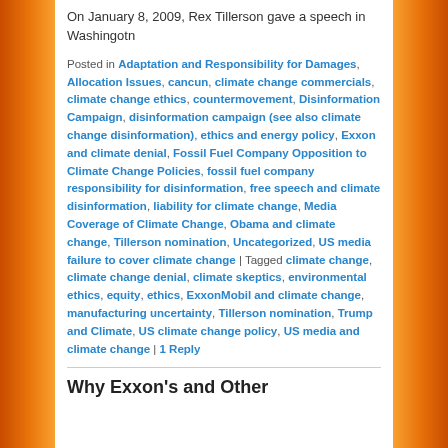On January 8, 2009, Rex Tillerson gave a speech in Washingotn
Posted in Adaptation and Responsibility for Damages, Allocation Issues, cancun, climate change commercials, climate change ethics, countermovement, Disinformation Campaign, disinformation campaign (see also climate change disinformation), ethics and energy policy, Exxon and climate denial, Fossil Fuel Company Opposition to Climate Change Policies, fossil fuel company responsibility for disinformation, free speech and climate disinformation, liability for climate change, Media Coverage of Climate Change, Obama and climate change, Tillerson nomination, Uncategorized, US media failure to cover climate change | Tagged climate change, climate change denial, climate skeptics, environmental ethics, equity, ethics, ExxonMobil and climate change, manufacturing uncertainty, Tillerson nomination, Trump and Climate, US climate change policy, US media and climate change | 1 Reply
Why Exxon's and Other